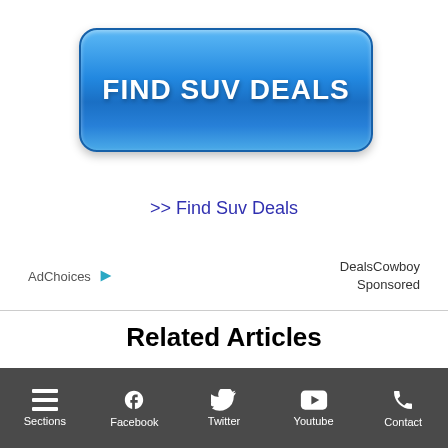[Figure (other): Blue button with text FIND SUV DEALS]
>> Find Suv Deals
AdChoices  DealsCowboy Sponsored
Related Articles
Sections  Facebook  Twitter  Youtube  Contact